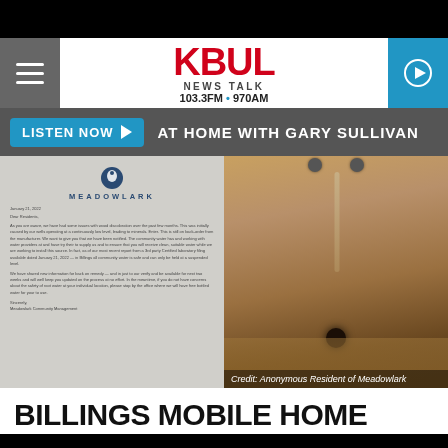[Figure (screenshot): KBUL News Talk 103.3FM 970AM website header with hamburger menu, logo, and play button]
[Figure (screenshot): Listen Now button bar with text 'AT HOME WITH GARY SULLIVAN']
[Figure (photo): Split image: left side shows a Meadowlark community letter dated January 21, 2022; right side shows brown/discolored water running from a faucet into a drain]
Credit: Anonymous Resident of Meadowlark
BILLINGS MOBILE HOME